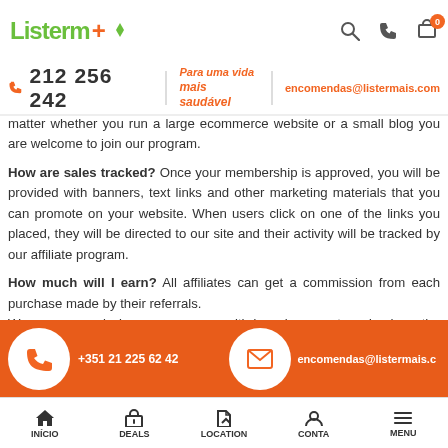Listermais - header with logo, search, phone, cart icons
212 256 242 | Para uma vida mais saudável | encomendas@listermais.com
matter whether you run a large ecommerce website or a small blog you are welcome to join our program.
How are sales tracked? Once your membership is approved, you will be provided with banners, text links and other marketing materials that you can promote on your website. When users click on one of the links you placed, they will be directed to our site and their activity will be tracked by our affiliate program.
How much will I earn? All affiliates can get a commission from each purchase made by their referrals. We pay commissions upon your withdrawal request and when the commission balance is sufficient.
+351 21 225 62 42 | encomendas@listermais.c
INÍCIO | DEALS | LOCATION | CONTA | MENU